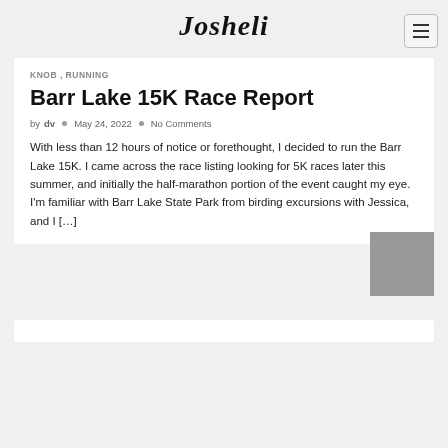Josheli
KNOB , RUNNING
Barr Lake 15K Race Report
by dv • May 24, 2022 • No Comments
With less than 12 hours of notice or forethought, I decided to run the Barr Lake 15K. I came across the race listing looking for 5K races later this summer, and initially the half-marathon portion of the event caught my eye. I'm familiar with Barr Lake State Park from birding excursions with Jessica, and I […]